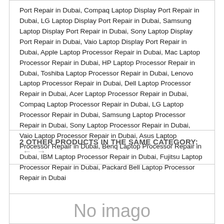Port Repair in Dubai, Compaq Laptop Display Port Repair in Dubai, LG Laptop Display Port Repair in Dubai, Samsung Laptop Display Port Repair in Dubai, Sony Laptop Display Port Repair in Dubai, Vaio Laptop Display Port Repair in Dubai, Apple Laptop Processor Repair in Dubai, Mac Laptop Processor Repair in Dubai, HP Laptop Processor Repair in Dubai, Toshiba Laptop Processor Repair in Dubai, Lenovo Laptop Processor Repair in Dubai, Dell Laptop Processor Repair in Dubai, Acer Laptop Processor Repair in Dubai, Compaq Laptop Processor Repair in Dubai, LG Laptop Processor Repair in Dubai, Samsung Laptop Processor Repair in Dubai, Sony Laptop Processor Repair in Dubai, Vaio Laptop Processor Repair in Dubai, Asus Laptop Processor Repair in Dubai, Benq Laptop Processor Repair in Dubai, IBM Laptop Processor Repair in Dubai, Fujitsu Laptop Processor Repair in Dubai, Packard Bell Laptop Processor Repair in Dubai
2 OTHER PRODUCTS IN THE SAME CATEGORY: ← →
[Figure (other): No image placeholder box]